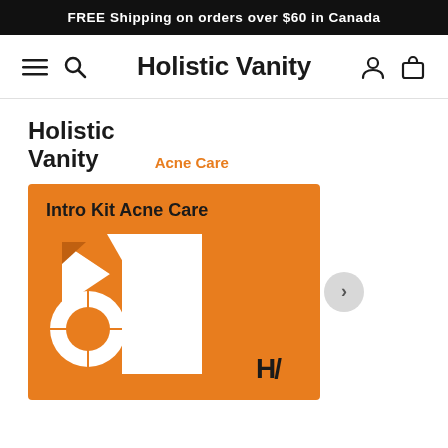FREE Shipping on orders over $60 in Canada
Holistic Vanity
Holistic Vanity
Acne Care
[Figure (illustration): Orange product box for Intro Kit Acne Care with white geometric logo shapes and HV monogram on orange background]